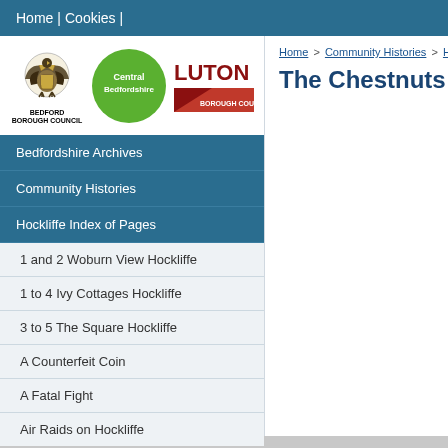Home | Cookies |
[Figure (logo): Bedford Borough Council, Central Bedfordshire, and Luton Borough Council logos]
Home > Community Histories > Hockliffe
The Chestnuts H
Bedfordshire Archives
Community Histories
Hockliffe Index of Pages
1 and 2 Woburn View Hockliffe
1 to 4 Ivy Cottages Hockliffe
3 to 5 The Square Hockliffe
A Counterfeit Coin
A Fatal Fight
Air Raids on Hockliffe